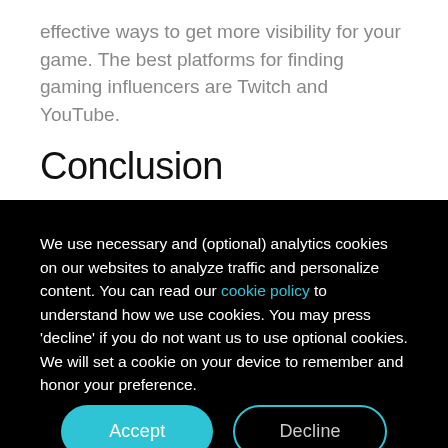effective ways to get more visibility for your game. The best platforms for finding gaming influencers are Twitch and YouTube.
Conclusion
We use necessary and (optional) analytics cookies on our websites to analyze traffic and personalize content. You can read our cookie policy to understand how we use cookies. You may press 'decline' if you do not want us to use optional cookies. We will set a cookie on your device to remember and honor your preference.